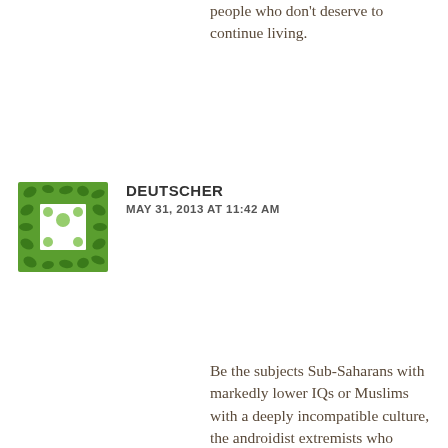people who don't deserve to continue living.
[Figure (illustration): Green decorative avatar icon with floral/leaf pattern, square with white center cutout]
Deutscher
MAY 31, 2013 AT 11:42 AM
Be the subjects Sub-Saharans with markedly lower IQs or Muslims with a deeply incompatible culture, the androidist extremists who control the West believe that they can use “education” and “culture” to maintain the status quo in their vast game of demographic musical chairs. Sub-Saharans can be educated to replace low-breeding Europeans and Muslims can be culturally